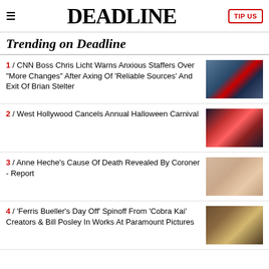DEADLINE
Trending on Deadline
1 / CNN Boss Chris Licht Warns Anxious Staffers Over "More Changes" After Axing Of 'Reliable Sources' And Exit Of Brian Stelter
2 / West Hollywood Cancels Annual Halloween Carnival
3 / Anne Heche's Cause Of Death Revealed By Coroner - Report
4 / 'Ferris Bueller's Day Off' Spinoff From 'Cobra Kai' Creators & Bill Posley In Works At Paramount Pictures